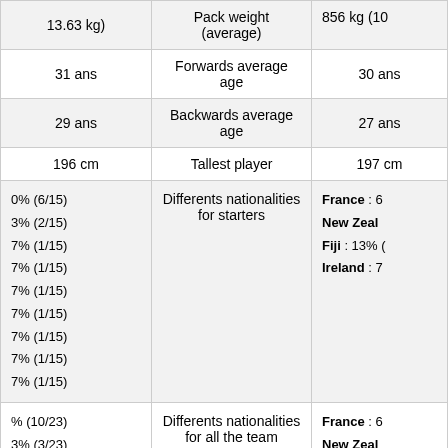| [left col] | [middle col] | [right col] |
| --- | --- | --- |
| 13.63 kg) | Pack weight (average) | 856 kg (10 |
| 31 ans | Forwards average age | 30 ans |
| 29 ans | Backwards average age | 27 ans |
| 196 cm | Tallest player | 197 cm |
| 0% (6/15)
3% (2/15)
7% (1/15)
7% (1/15)
7% (1/15)
7% (1/15)
7% (1/15)
7% (1/15)
7% (1/15) | Differents nationalities for starters | France : 6
New Zeal
Fiji : 13% (
Ireland : 7 |
| % (10/23)
3% (3/23)
9% (2/23)
9% (2/23) | Differents nationalities for all the team | France : 6
New Zeal
Fiji : 13% (
Ireland : 9 |